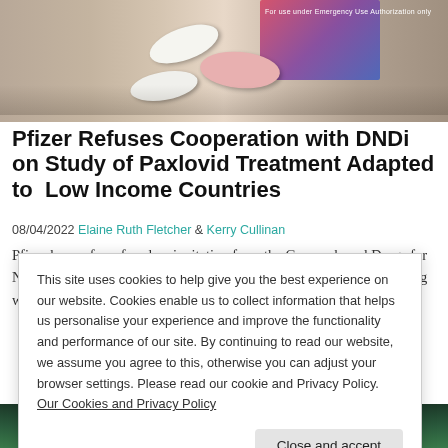[Figure (photo): Photograph of Paxlovid pills (white and pink tablets) on a marble surface next to a medicine box with colorful packaging]
Pfizer Refuses Cooperation with DNDi on Study of Paxlovid Treatment Adapted to Low Income Countries
08/04/2022 Elaine Ruth Fletcher & Kerry Cullinan
Pfizer has so far refused an invitation from the Geneva-based Drugs for Neglected Diseases Initiative (DNDi) to cooperate on a study exploring whether the treatment
This site uses cookies to help give you the best experience on our website. Cookies enable us to collect information that helps us personalise your experience and improve the functionality and performance of our site. By continuing to read our website, we assume you agree to this, otherwise you can adjust your browser settings. Please read our cookie and Privacy Policy. Our Cookies and Privacy Policy
[Figure (photo): Partial photo of a green/teal figurine or object at the bottom of the page]